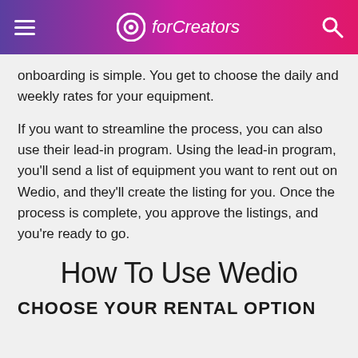forCreators
onboarding is simple. You get to choose the daily and weekly rates for your equipment.
If you want to streamline the process, you can also use their lead-in program. Using the lead-in program, you'll send a list of equipment you want to rent out on Wedio, and they'll create the listing for you. Once the process is complete, you approve the listings, and you're ready to go.
How To Use Wedio
CHOOSE YOUR RENTAL OPTION